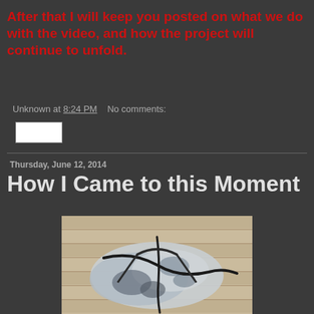After that I will keep you posted on what we do with the video, and how the project will continue to unfold.
Unknown at 8:24 PM   No comments:
Thursday, June 12, 2014
How I Came to this Moment
[Figure (photo): Photo of a tie-dye or blue/grey patterned cloth/garment laid out on a wooden deck with what appears to be rope or cord, viewed from above]